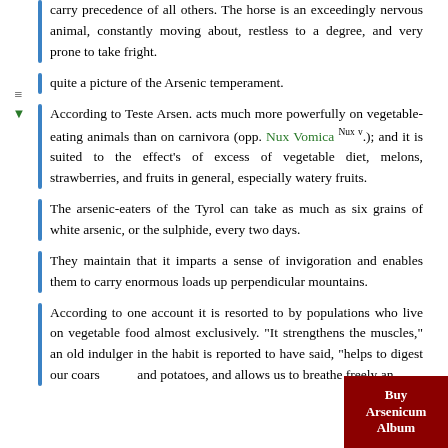carry precedence of all others. The horse is an exceedingly nervous animal, constantly moving about, restless to a degree, and very prone to take fright.
quite a picture of the Arsenic temperament.
According to Teste Arsen. acts much more powerfully on vegetable-eating animals than on carnivora (opp. Nux Vomica Nux v.); and it is suited to the effect's of excess of vegetable diet, melons, strawberries, and fruits in general, especially watery fruits.
The arsenic-eaters of the Tyrol can take as much as six grains of white arsenic, or the sulphide, every two days.
They maintain that it imparts a sense of invigoration and enables them to carry enormous loads up perpendicular mountains.
According to one account it is resorted to by populations who live on vegetable food almost exclusively. "It strengthens the muscles," an old indulger in the habit is reported to have said, "helps to digest our coars... and potatoes, and allows us to breathe freely and...